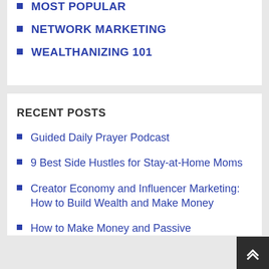MOST POPULAR
NETWORK MARKETING
WEALTHANIZING 101
RECENT POSTS
Guided Daily Prayer Podcast
9 Best Side Hustles for Stay-at-Home Moms
Creator Economy and Influencer Marketing: How to Build Wealth and Make Money
How to Make Money and Passive